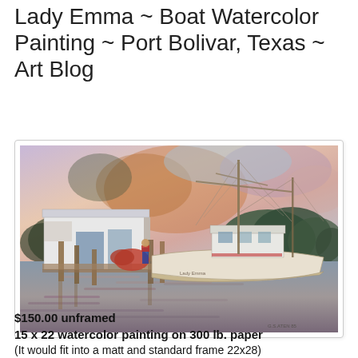Lady Emma ~ Boat Watercolor Painting ~ Port Bolivar, Texas ~ Art Blog
[Figure (illustration): Watercolor painting of a fishing boat named Lady Emma docked at a pier in Port Bolivar, Texas. A white boathouse/shed is on the left, with wooden dock pilings. A person in red and blue stands on the dock. The boat is white with a tall mast and rigging. Green trees are visible in the background. Water reflections appear in the foreground. Warm orange and pink sky colors in the upper portion.]
$150.00 unframed
15 x 22 watercolor painting on 300 lb. paper
(It would fit into a matt and standard frame 22x28)